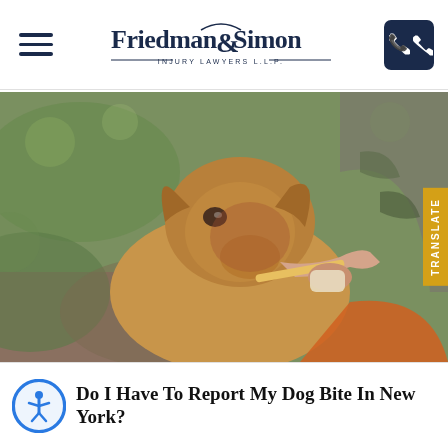Friedman & Simon Injury Lawyers L.L.P.
[Figure (photo): A golden/tan dog sitting on grass outdoors while a person holds a leash with their hand. The dog appears to be a medium-sized mixed breed, face partially in shadow with reddish fur tones. Person wearing camouflage and orange clothing visible in background.]
Do I Have To Report My Dog Bite In New York?